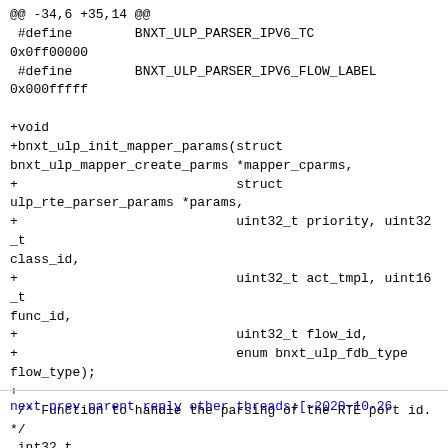@@ -34,6 +35,14 @@
 #define        BNXT_ULP_PARSER_IPV6_TC
0x0ff00000
 #define        BNXT_ULP_PARSER_IPV6_FLOW_LABEL
0x000fffff

+void
+bnxt_ulp_init_mapper_params(struct
bnxt_ulp_mapper_create_parms *mapper_cparms,
+                            struct
ulp_rte_parser_params *params,
+                            uint32_t priority, uint32_t
class_id,
+                            uint32_t act_tmpl, uint16_t
func_id,
+                            uint32_t flow_id,
+                            enum bnxt_ulp_fdb_type
flow_type);
+
 /* Function to handle the parsing of the RTE port id.
*/
 int32_t
 ulp_rte_parser_implicit_match_port_process(struct
ulp_rte_parser_params *param);
--
2.21.1 (Apple Git-122.3)
next prev parent reply   other threads:[~2020-10-26